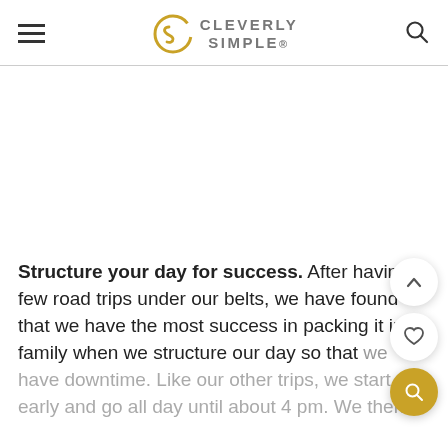CLEVERLY SIMPLE®
Structure your day for success. After having a few road trips under our belts, we have found that we have the most success in packing it in as family when we structure our day so that we have downtime. Like our other trips, we start early and go all day until about 4 pm. We then